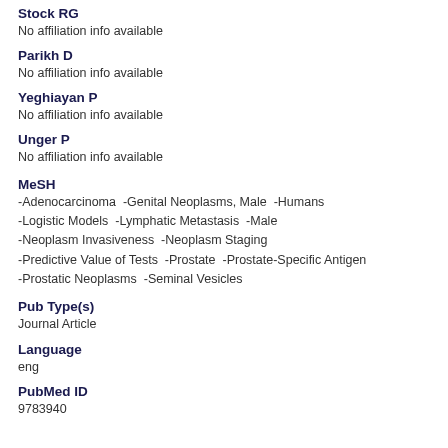Stock RG
No affiliation info available
Parikh D
No affiliation info available
Yeghiayan P
No affiliation info available
Unger P
No affiliation info available
MeSH
-Adenocarcinoma  -Genital Neoplasms, Male  -Humans -Logistic Models  -Lymphatic Metastasis  -Male -Neoplasm Invasiveness  -Neoplasm Staging -Predictive Value of Tests  -Prostate  -Prostate-Specific Antigen -Prostatic Neoplasms  -Seminal Vesicles
Pub Type(s)
Journal Article
Language
eng
PubMed ID
9783940